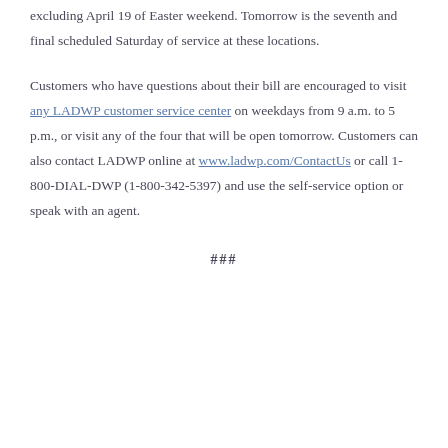excluding April 19 of Easter weekend. Tomorrow is the seventh and final scheduled Saturday of service at these locations.
Customers who have questions about their bill are encouraged to visit any LADWP customer service center on weekdays from 9 a.m. to 5 p.m., or visit any of the four that will be open tomorrow. Customers can also contact LADWP online at www.ladwp.com/ContactUs or call 1-800-DIAL-DWP (1-800-342-5397) and use the self-service option or speak with an agent.
###